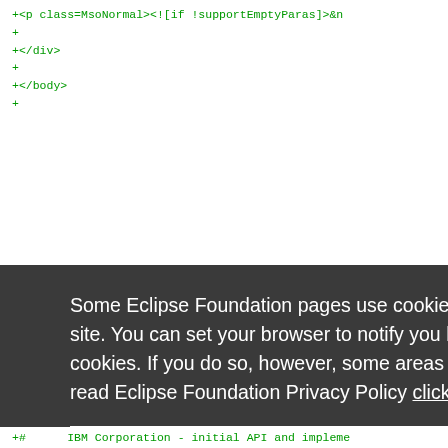+<p class=MsoNormal><![if !supportEmptyParas]>&n
+
+</div>
+
+</body>
+
Some Eclipse Foundation pages use cookies to better serve you when you return to the site. You can set your browser to notify you before you receive a cookie or turn off cookies. If you do so, however, some areas of some sites may not function properly. To read Eclipse Foundation Privacy Policy click here.
Decline   Allow cookies
+#      IBM Corporation - initial API and impleme